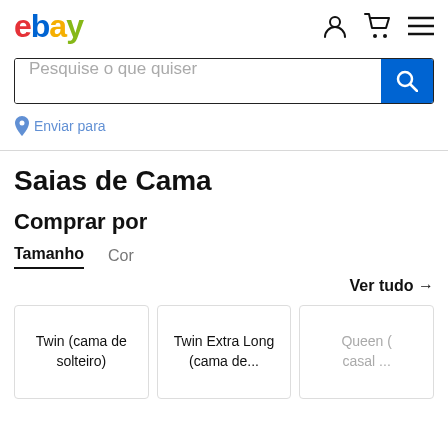[Figure (logo): eBay logo with colored letters: e in red, b in blue, a in yellow, y in green]
[Figure (screenshot): Header icons: user account icon, shopping cart icon, hamburger menu icon]
Pesquise o que quiser
Enviar para
Saias de Cama
Comprar por
Tamanho   Cor
Ver tudo →
Twin (cama de solteiro)
Twin Extra Long (cama de...
Queen (casal ...